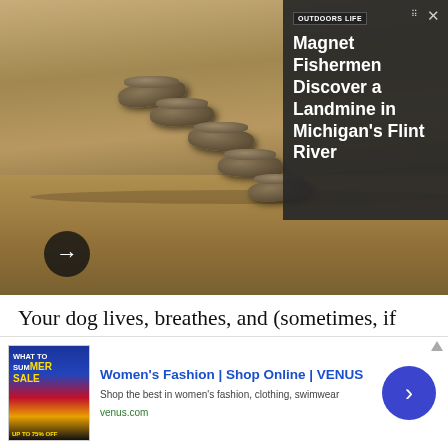[Figure (photo): Photo of landmines arranged in a row on sandy/rocky ground, partially buried. An overlay panel on the right shows the Outdoor Life logo and a article headline about magnet fishermen discovering a landmine in Michigan's Flint River, with a close (X) button and a right-arrow navigation button.]
Your dog lives, breathes, and (sometimes, if you're not careful, or you're a lazy trainer) eats birds. His entire reason for being is to pursue and capture birds. He even chases them in his sleep, all trembling legs and muted barks. Bird, prey. Dog, predator. His raison
[Figure (screenshot): Advertisement banner for Women's Fashion | Shop Online | VENUS. Shows a magazine-style image on the left with 'SUMMER SALE' text, blue heading 'Women's Fashion | Shop Online | VENUS', subtext 'Shop the best in women's fashion, clothing, swimwear', URL 'venus.com' in green, and a blue circular arrow button on the right.]